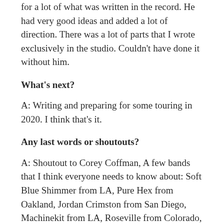for a lot of what was written in the record. He had very good ideas and added a lot of direction. There was a lot of parts that I wrote exclusively in the studio. Couldn't have done it without him.
What's next?
A: Writing and preparing for some touring in 2020. I think that's it.
Any last words or shoutouts?
A: Shoutout to Corey Coffman, A few bands that I think everyone needs to know about: Soft Blue Shimmer from LA, Pure Hex from Oakland, Jordan Crimston from San Diego, Machinekit from LA, Roseville from Colorado, and Grainer from Minneapolis.